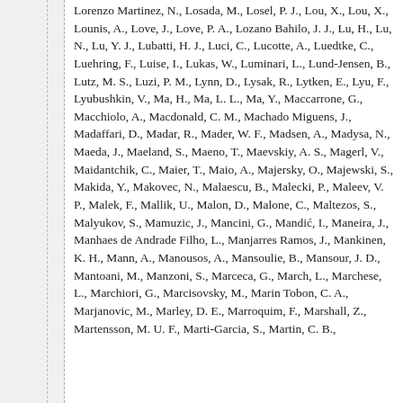Lorenzo Martinez, N., Losada, M., Losel, P. J., Lou, X., Lou, X., Lounis, A., Love, J., Love, P. A., Lozano Bahilo, J. J., Lu, H., Lu, N., Lu, Y. J., Lubatti, H. J., Luci, C., Lucotte, A., Luedtke, C., Luehring, F., Luise, I., Lukas, W., Luminari, L., Lund-Jensen, B., Lutz, M. S., Luzi, P. M., Lynn, D., Lysak, R., Lytken, E., Lyu, F., Lyubushkin, V., Ma, H., Ma, L. L., Ma, Y., Maccarrone, G., Macchiolo, A., Macdonald, C. M., Machado Miguens, J., Madaffari, D., Madar, R., Mader, W. F., Madsen, A., Madysa, N., Maeda, J., Maeland, S., Maeno, T., Maevskiy, A. S., Magerl, V., Maidantchik, C., Maier, T., Maio, A., Majersky, O., Majewski, S., Makida, Y., Makovec, N., Malaescu, B., Malecki, P., Maleev, V. P., Malek, F., Mallik, U., Malon, D., Malone, C., Maltezos, S., Malyukov, S., Mamuzic, J., Mancini, G., Mandić, I., Maneira, J., Manhaes de Andrade Filho, L., Manjarres Ramos, J., Mankinen, K. H., Mann, A., Manousos, A., Mansoulie, B., Mansour, J. D., Mantoani, M., Manzoni, S., Marceca, G., March, L., Marchese, L., Marchiori, G., Marcisovsky, M., Marin Tobon, C. A., Marjanovic, M., Marley, D. E., Marroquim, F., Marshall, Z., Martensson, M. U. F., Marti-Garcia, S., Martin, C. B., Martin, T. A., Martin, V. J., Martinelli, A., ...